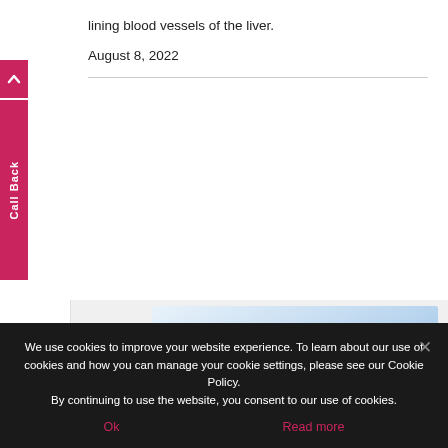lining blood vessels of the liver.
August 8, 2022
[Figure (screenshot): Card thumbnail for 'Breast cancer: HER2+ Disease Analysis' with blue hexagonal geometric background design]
We use cookies to improve your website experience. To learn about our use of cookies and how you can manage your cookie settings, please see our Cookie Policy.
By continuing to use the website, you consent to our use of cookies.
Ok
Read more